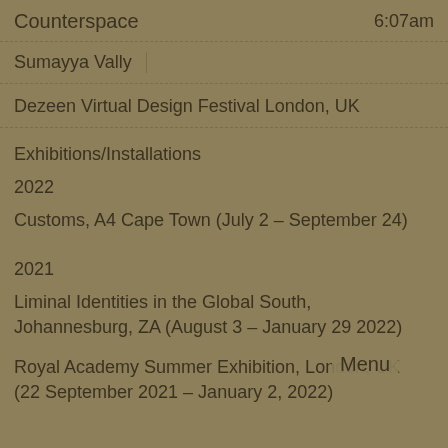Counterspace   6:07am
Sumayya Vally
Dezeen Virtual Design Festival London, UK
Exhibitions/Installations
2022
Customs, A4 Cape Town (July 2 – September 24)
2021
Liminal Identities in the Global South, Johannesburg, ZA (August 3 – January 29 2022)
Royal Academy Summer Exhibition, London, UK (22 September 2021 – January 2, 2022)
Menu